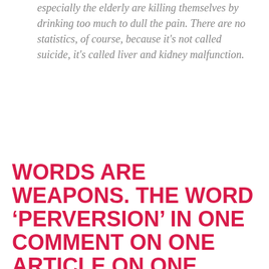especially the elderly are killing themselves by drinking too much to dull the pain. There are no statistics, of course, because it's not called suicide, it's called liver and kidney malfunction.
WORDS ARE WEAPONS.  THE WORD 'PERVERSION' IN ONE COMMENT ON ONE ARTICLE ON ONE ONLINE JOURNAL MAY SEEM INFINITESIMAL IN THE BARRAGE OF HATE TO WHICH HOMOSEXUALS ARE SUBJECTED THROUGHOUT